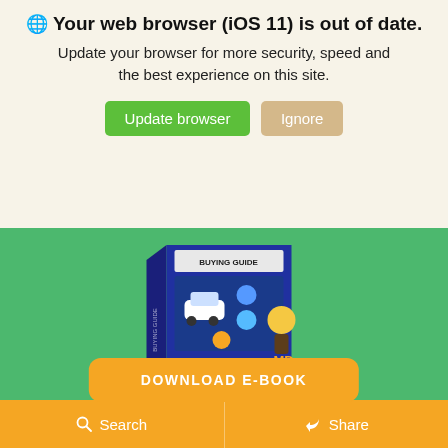🌐 Your web browser (iOS 11) is out of date. Update your browser for more security, speed and the best experience on this site.
Update browser | Ignore
[Figure (illustration): A book cover titled 'Buying Guide' with car-related icons on a blue and orange background, shown in 3D perspective]
DOWNLOAD E-BOOK
Search Our Blog
Search | Share